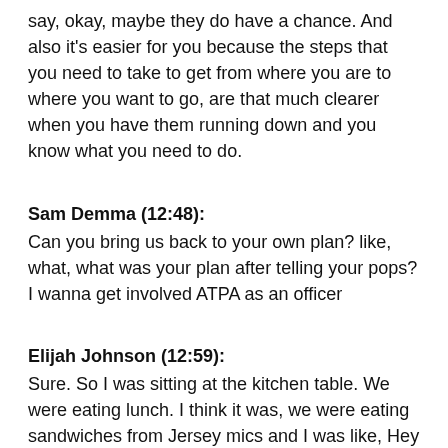say, okay, maybe they do have a chance. And also it's easier for you because the steps that you need to take to get from where you are to where you want to go, are that much clearer when you have them running down and you know what you need to do.
Sam Demma (12:48): Can you bring us back to your own plan? like, what, what was your plan after telling your pops? I wanna get involved ATPA as an officer
Elijah Johnson (12:59): Sure. So I was sitting at the kitchen table. We were eating lunch. I think it was, we were eating sandwiches from Jersey mics and I was like, Hey dad, I'm gonna run for chapter office. Then I'm gonna run for regional office. Then I'm gonna run for state office. And then I'm gonna